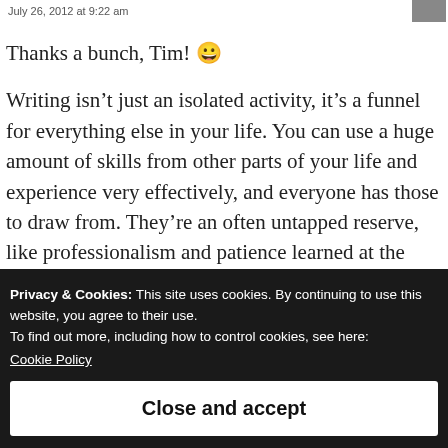July 26, 2012 at 9:22 am
Thanks a bunch, Tim! 😀
Writing isn't just an isolated activity, it's a funnel for everything else in your life. You can use a huge amount of skills from other parts of your life and experience very effectively, and everyone has those to draw from. They're an often untapped reserve, like professionalism and patience learned at the workplace, like persistence learned
Privacy & Cookies: This site uses cookies. By continuing to use this website, you agree to their use.
To find out more, including how to control cookies, see here:
Cookie Policy
Close and accept